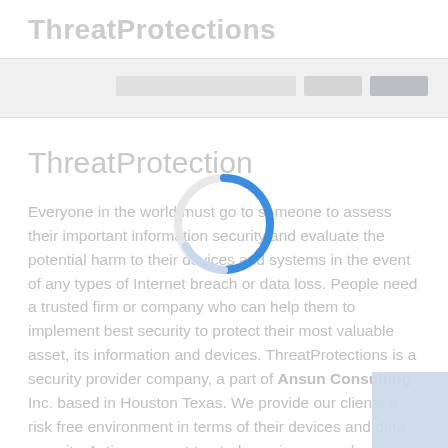ThreatProtections
[Figure (screenshot): Navigation bar with grey placeholder elements and a darker button on the right side]
ThreatProtection
Everyone in the world must go to someone to assess their important information security and evaluate the potential harm to their devices and systems in the event of any types of Internet breach or data loss. People need a trusted firm or company who can help them to implement best security to protect their most valuable asset, its information and devices. ThreatProtections is a security provider company, a part of Ansun Consulting Inc. based in Houston Texas. We provide our clients a risk free environment in terms of their devices and data security. Acting as most trusted acquirers, we always have our clients...
[Figure (illustration): Blue circular loading spinner centered on the page]
[Figure (other): Light blue rectangle in the bottom-right corner of the page]